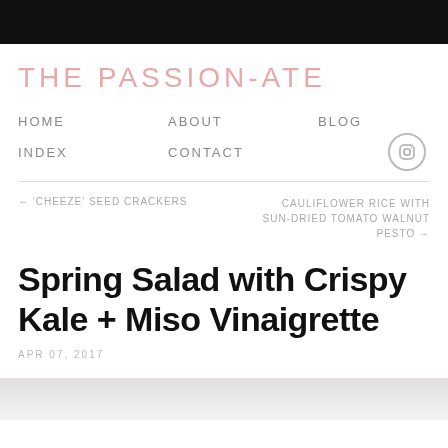THE PASSION-ATE
HOME   ABOUT   BLOG   INDEX   CONTACT
← 'CHEEZE' SEED CRACKERS   CAULIFLOWER RICE WITH SUN-DRIED TOMATO WALNUT PESTO →
Spring Salad with Crispy Kale + Miso Vinaigrette
APR 07, 2017